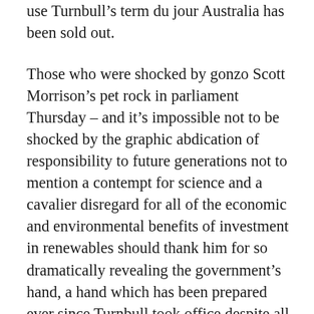use Turnbull's term du jour Australia has been sold out.
Those who were shocked by gonzo Scott Morrison's pet rock in parliament Thursday – and it's impossible not to be shocked by the graphic abdication of responsibility to future generations not to mention a contempt for science and a cavalier disregard for all of the economic and environmental benefits of investment in renewables should thank him for so dramatically revealing the government's hand, a hand which has been prepared ever since Turnbull took office despite all sentiment and nostalgia for the Old Leather Jacket. Get real. This government has always been pro-coal.